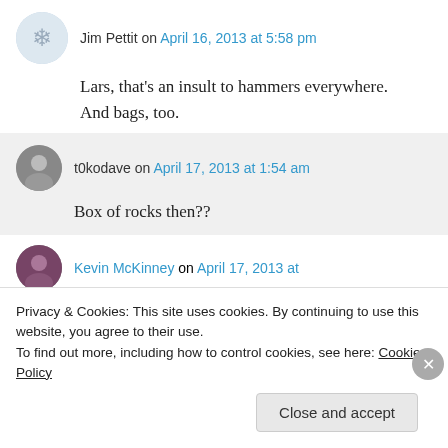Jim Pettit on April 16, 2013 at 5:58 pm
Lars, that's an insult to hammers everywhere. And bags, too.
t0kodave on April 17, 2013 at 1:54 am
Box of rocks then??
Kevin McKinney on April 17, 2013 at
Privacy & Cookies: This site uses cookies. By continuing to use this website, you agree to their use. To find out more, including how to control cookies, see here: Cookie Policy
Close and accept